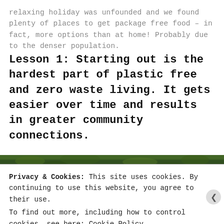relaxing holiday was unfounded and we found plenty of places to get package free food – in fact, more options than at home! Probably due to the denser population.
Lesson 1: Starting out is the hardest part of plastic free and zero waste living. It gets easier over time and results in greater community connections.
[Figure (photo): Dark green foliage/trees photo strip at top of cookie banner]
Privacy & Cookies: This site uses cookies. By continuing to use this website, you agree to their use.
To find out more, including how to control cookies, see here: Cookie Policy
CLOSE AND ACCEPT